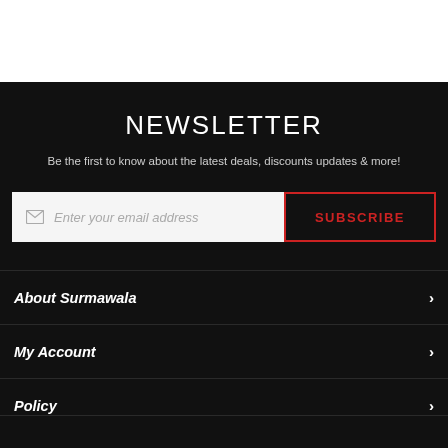NEWSLETTER
Be the first to know about the latest deals, discounts updates & more!
Enter your email address
SUBSCRIBE
About Surmawala
My Account
Policy